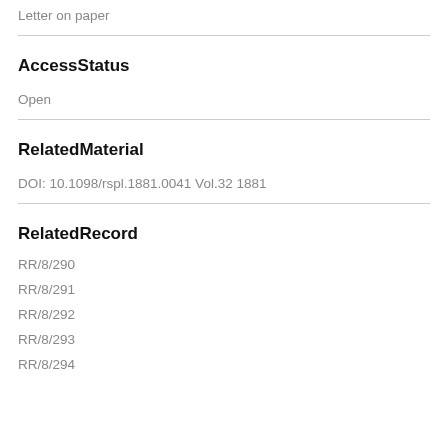Letter on paper
AccessStatus
Open
RelatedMaterial
DOI: 10.1098/rspl.1881.0041 Vol.32 1881
RelatedRecord
RR/8/290
RR/8/291
RR/8/292
RR/8/293
RR/8/294